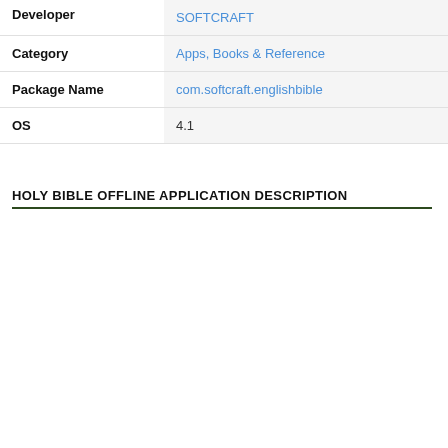| Field | Value |
| --- | --- |
| Developer | SOFTCRAFT |
| Category | Apps, Books & Reference |
| Package Name | com.softcraft.englishbible |
| OS | 4.1 |
HOLY BIBLE OFFLINE APPLICATION DESCRIPTION